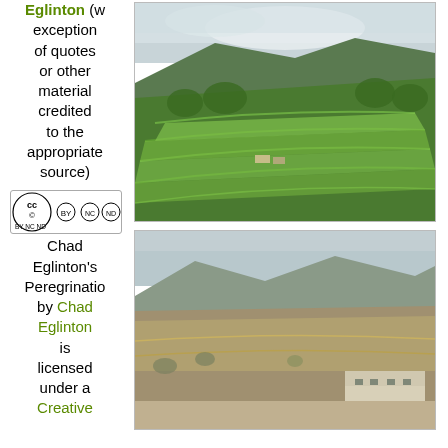Eglinton (with exception of quotes or other material credited to the appropriate source)
[Figure (other): Creative Commons BY NC ND license badge]
Chad Eglinton's Peregrinations by Chad Eglinton is licensed under a Creative
[Figure (photo): Aerial view of green terraced rice fields on a hillside with cloudy sky]
[Figure (photo): Mountain village scene with dry hillside, terraced fields, and building with white walls]